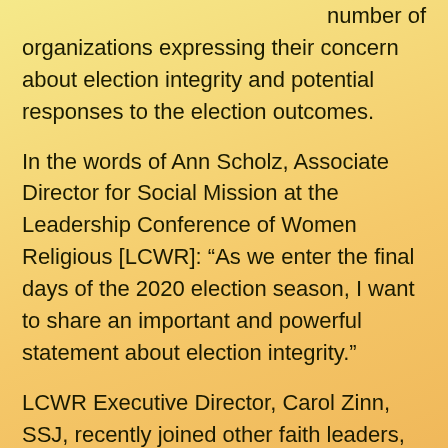number of organizations expressing their concern about election integrity and potential responses to the election outcomes.
In the words of Ann Scholz, Associate Director for Social Mission at the Leadership Conference of Women Religious [LCWR]: “As we enter the final days of the 2020 election season, I want to share an important and powerful statement about election integrity.”
LCWR Executive Director, Carol Zinn, SSJ, recently joined other faith leaders, who are Heads of Washington Offices (HOWO) in a joint